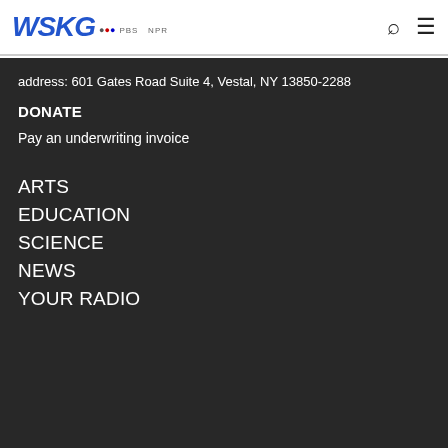WSKG PBS NPR
address: 601 Gates Road Suite 4, Vestal, NY 13850-2288
DONATE
Pay an underwriting invoice
ARTS
EDUCATION
SCIENCE
NEWS
YOUR RADIO